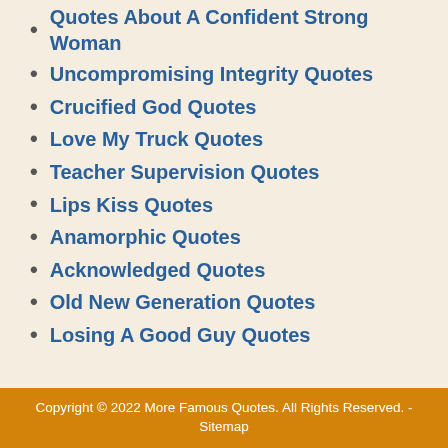Quotes About A Confident Strong Woman
Uncompromising Integrity Quotes
Crucified God Quotes
Love My Truck Quotes
Teacher Supervision Quotes
Lips Kiss Quotes
Anamorphic Quotes
Acknowledged Quotes
Old New Generation Quotes
Losing A Good Guy Quotes
Copyright © 2022 More Famous Quotes. All Rights Reserved. - Sitemap